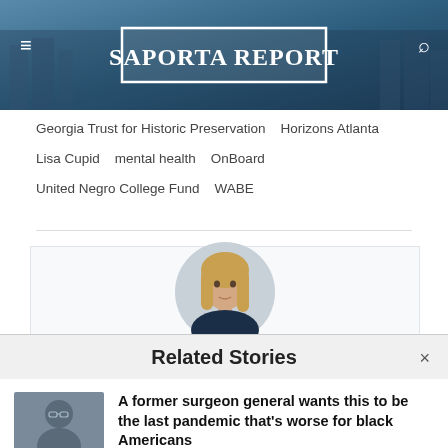[Figure (screenshot): SaportaReport website header with blue city skyline background, hamburger menu icon on left, search icon on right, and white bordered logo in center reading SAPORTAREPORT]
Georgia Trust for Historic Preservation   Horizons Atlanta
Lisa Cupid   mental health   OnBoard
United Negro College Fund   WABE
[Figure (photo): Circular cropped headshot of a young woman with long blonde hair wearing a dark top, against a light grey background]
Related Stories
A former surgeon general wants this to be the last pandemic that's worse for black Americans